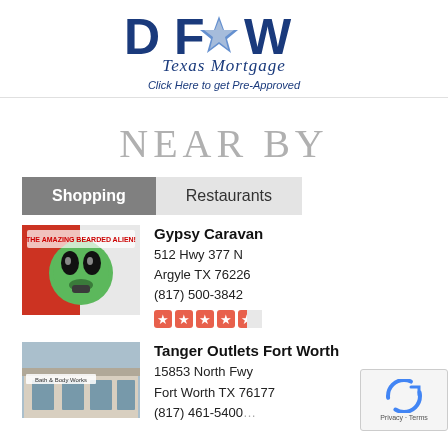[Figure (logo): DFW Texas Mortgage logo with stylized letters and Texas flag star icon]
Click Here to get Pre-Approved
NEAR BY
Shopping   Restaurants
[Figure (photo): Gypsy Caravan store image with alien artwork]
Gypsy Caravan
512 Hwy 377 N
Argyle TX 76226
(817) 500-3842
[Figure (photo): Tanger Outlets Fort Worth photo showing Bath & Body Works storefront]
Tanger Outlets Fort Worth
15853 North Fwy
Fort Worth TX 76177
(817) 461-5400